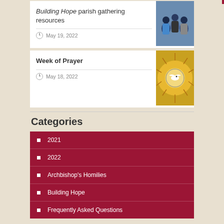[Figure (photo): People sitting in a circle having a discussion, group gathering scene]
Building Hope parish gathering resources
May 19, 2022
[Figure (photo): Stained glass window showing a dove with radiant sunburst pattern]
Week of Prayer
May 18, 2022
Categories
2021
2022
Archbishop's Homilies
Building Hope
Frequently Asked Questions